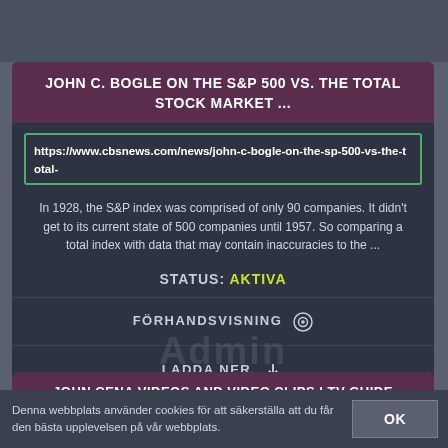JOHN C. BOGLE ON THE S&P 500 VS. THE TOTAL STOCK MARKET ...
https://www.cbsnews.com/news/john-c-bogle-on-the-sp-500-vs-the-total-
In 1928, the S&P index was comprised of only 90 companies. It didn't get to its current state of 500 companies until 1957. So comparing a total index with data that may contain inaccuracies to the ...
STATUS: AKTIVA
FÖRHANDSVISNING 👁
LADDA NER ⬇
JOHN CENA VIDEOS AND VIDEO CLIPS | TV GUIDE
Denna webbplats använder cookies för att säkerställa att du får den bästa upplevelsen på vår webbplats.
OK